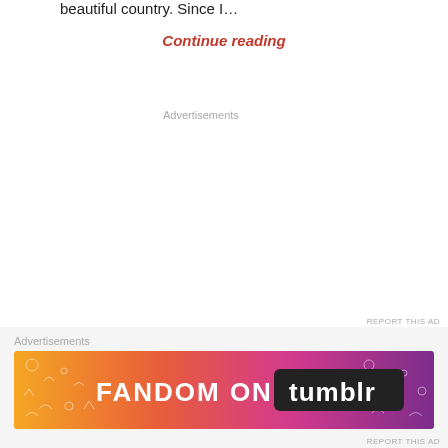beautiful country. Since I…
Continue reading
Advertisements
REPORT THIS AD
[Figure (other): Close/dismiss button (X in circle)]
Advertisements
[Figure (other): Fandom on Tumblr advertisement banner with colorful gradient background (orange to purple) and white doodle icons]
REPORT THIS AD